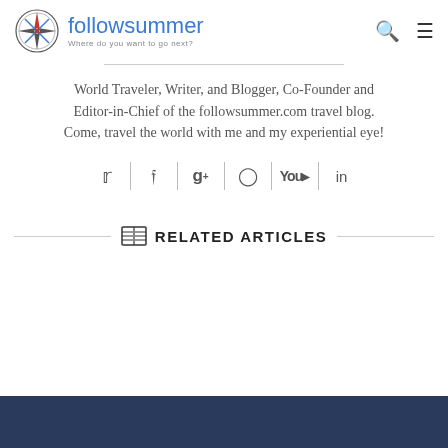[Figure (logo): followsummer travel blog logo with compass rose icon, site name in blue, tagline 'Where do you want to go next?']
World Traveler, Writer, and Blogger, Co-Founder and Editor-in-Chief of the followsummer.com travel blog. Come, travel the world with me and my experiential eye!
[Figure (infographic): Social media icon row: Twitter, Facebook, Google+, Instagram, YouTube, LinkedIn separated by vertical lines]
RELATED ARTICLES
[Figure (photo): Dark blue/navy background photo strip at the bottom of the page]